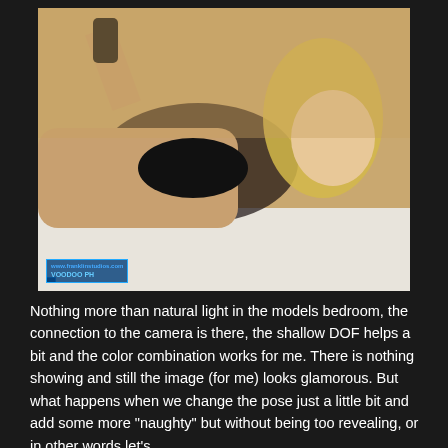[Figure (photo): A blonde woman in black lingerie lying on a bed, photographed with natural light and shallow depth of field. A watermark/logo is visible in the bottom left corner of the photo.]
Nothing more than natural light in the models bedroom, the connection to the camera is there, the shallow DOF helps a bit and the color combination works for me. There is nothing showing and still the image (for me) looks glamorous. But what happens when we change the pose just a little bit and add some more "naughty" but without being too revealing, or in other words let's